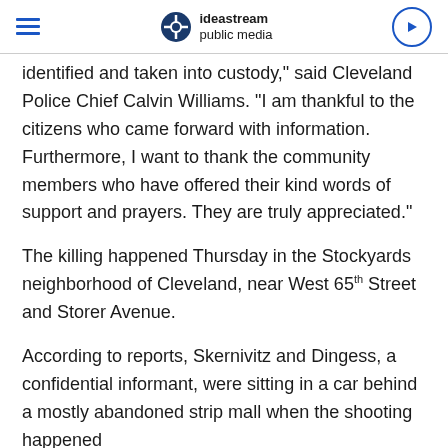ideastream public media
identified and taken into custody,” said Cleveland Police Chief Calvin Williams. “I am thankful to the citizens who came forward with information. Furthermore, I want to thank the community members who have offered their kind words of support and prayers. They are truly appreciated.”
The killing happened Thursday in the Stockyards neighborhood of Cleveland, near West 65th Street and Storer Avenue.
According to reports, Skernivitz and Dingess, a confidential informant, were sitting in a car behind a mostly abandoned strip mall when the shooting happened